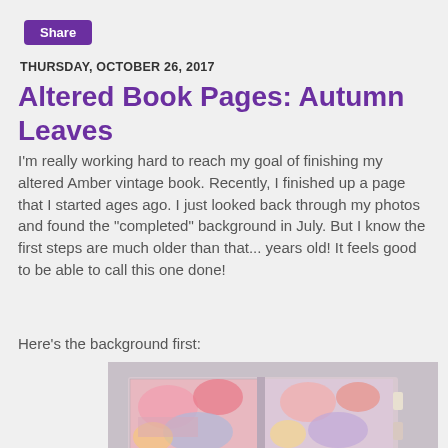Share
THURSDAY, OCTOBER 26, 2017
Altered Book Pages: Autumn Leaves
I'm really working hard to reach my goal of finishing my altered Amber vintage book. Recently, I finished up a page that I started ages ago. I just looked back through my photos and found the "completed" background in July. But I know the first steps are much older than that... years old! It feels good to be able to call this one done!
Here's the background first:
[Figure (photo): Photo of an altered book open, showing colorful mixed-media pages with floral and abstract painted backgrounds in pink, blue, yellow, and red tones, with some tabs visible on the right edge.]